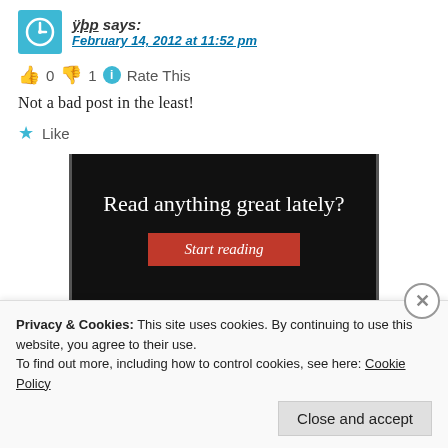ÿþp says: February 14, 2012 at 11:52 pm
👍 0 👎 1 ℹ Rate This
Not a bad post in the least!
★ Like
[Figure (screenshot): Advertisement banner with black background reading 'Read anything great lately?' with a red 'Start reading' button]
Privacy & Cookies: This site uses cookies. By continuing to use this website, you agree to their use. To find out more, including how to control cookies, see here: Cookie Policy
Close and accept